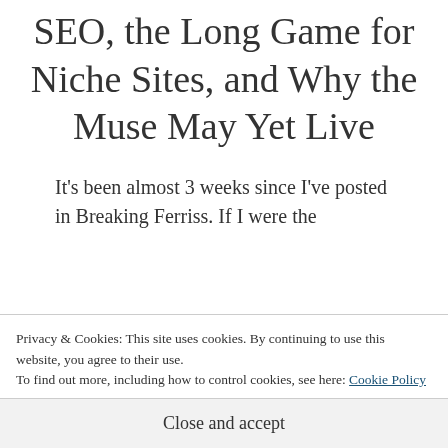SEO, the Long Game for Niche Sites, and Why the Muse May Yet Live
It's been almost 3 weeks since I've posted in Breaking Ferriss. If I were the
Privacy & Cookies: This site uses cookies. By continuing to use this website, you agree to their use.
To find out more, including how to control cookies, see here: Cookie Policy
Close and accept
I'm happy to report I've been deep with